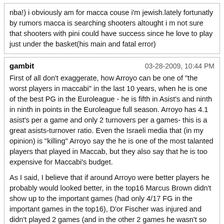nba!) i obviously am for macca couse i'm jewish.lately fortunatly by rumors macca is searching shooters altought i m not sure that shooters with pini could have success since he love to play just under the basket(his main and fatal error)
gambit | 03-28-2009, 10:44 PM

First of all don't exaggerate, how Arroyo can be one of "the worst players in maccabi" in the last 10 years, when he is one of the best PG in the Euroleague - he is fifth in Asist's and ninth in ninth in points in the Euroleague full season. Arroyo has 4.1 asist's per a game and only 2 turnovers per a games- this is a great asists-turnover ratio. Even the Israeli media that (in my opinion) is "killing" Arroyo say the he is one of the most talanted players that played in Maccab, but they also say that he is too expensive for Maccabi's budget.

As I said, I believe that if around Arroyo were better players he probably would looked better, in the top16 Marcus Brown didn't show up to the important games (had only 4/17 FG in the important games in the top16), D'or Fischer was injured and didn't played 2 games (and in the other 2 games he wasn't so good) and even Eliyahu was mediocre. Arroyo is the only one that looked good in the top16 (exept one game against Barcelona). Most of the games Arroyo didn't score much in the first quarter and tried to let his team-mates into the games but most of the player's just sucked! Arroyo started to take games on himself when he realized that he is the only player that is "in the game". BTW Arroyo has great stats - 14.6 points, 4.1 asist's and only 2 turnover's, in statistics he is one of the best PG in the Euroleague.